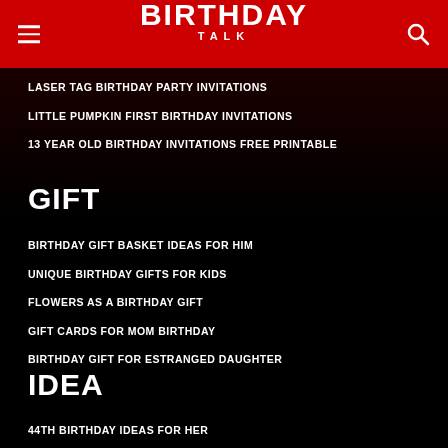BIRTHDAY TALK
LASER TAG BIRTHDAY PARTY INVITATIONS
LITTLE PUMPKIN FIRST BIRTHDAY INVITATIONS
13 YEAR OLD BIRTHDAY INVITATIONS FREE PRINTABLE
GIFT
BIRTHDAY GIFT BASKET IDEAS FOR HIM
UNIQUE BIRTHDAY GIFTS FOR KIDS
FLOWERS AS A BIRTHDAY GIFT
GIFT CARDS FOR MOM BIRTHDAY
BIRTHDAY GIFT FOR ESTRANGED DAUGHTER
IDEA
44TH BIRTHDAY IDEAS FOR HER